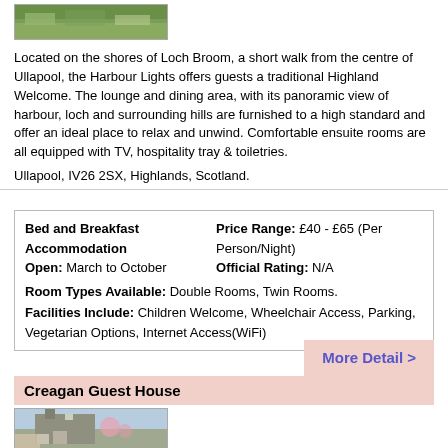[Figure (photo): Exterior photo of Harbour Lights property near Loch Broom, showing grassy landscape]
Located on the shores of Loch Broom, a short walk from the centre of Ullapool, the Harbour Lights offers guests a traditional Highland Welcome. The lounge and dining area, with its panoramic view of harbour, loch and surrounding hills are furnished to a high standard and offer an ideal place to relax and unwind. Comfortable ensuite rooms are all equipped with TV, hospitality tray & toiletries.
Ullapool, IV26 2SX, Highlands, Scotland.
Bed and Breakfast Accommodation
Open: March to October
Price Range: £40 - £65 (Per Person/Night)
Official Rating: N/A
Room Types Available: Double Rooms, Twin Rooms.
Facilities Include: Children Welcome, Wheelchair Access, Parking, Vegetarian Options, Internet Access(WiFi)
More Detail >
Creagan Guest House
[Figure (photo): Exterior photo of Creagan Guest House, a stone building with chimney and flowering tree in front]